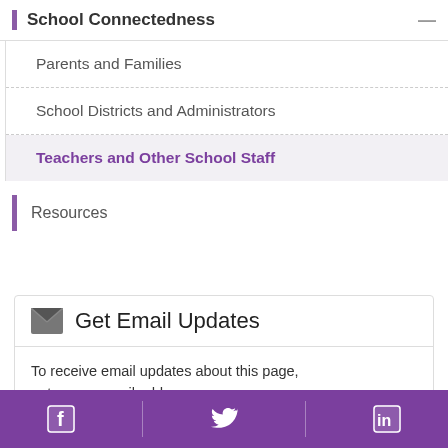School Connectedness
Parents and Families
School Districts and Administrators
Teachers and Other School Staff
Resources
Get Email Updates
To receive email updates about this page, enter your email address:
Facebook | Twitter | LinkedIn